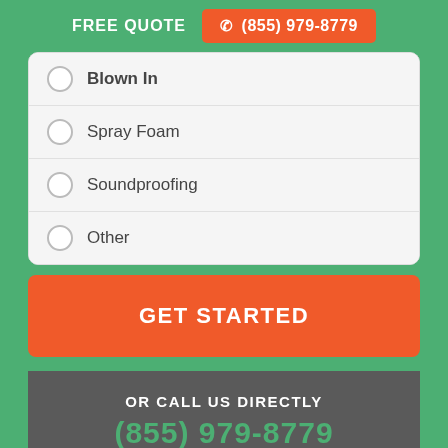FREE QUOTE  ☎ (855) 979-8779
Blown In
Spray Foam
Soundproofing
Other
GET STARTED
OR CALL US DIRECTLY
(855) 979-8779